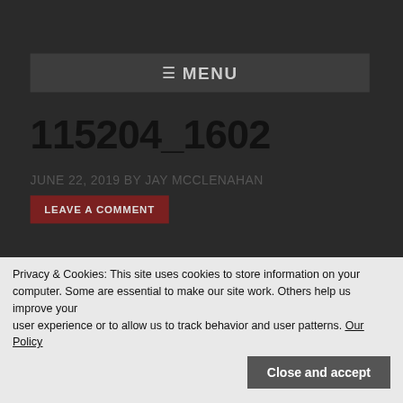≡ MENU
115204_1602
JUNE 22, 2019 BY JAY MCCLENAHAN
LEAVE A COMMENT
Privacy & Cookies: This site uses cookies to store information on your computer. Some are essential to make our site work. Others help us improve your user experience or to allow us to track behavior and user patterns. Our Policy
Close and accept